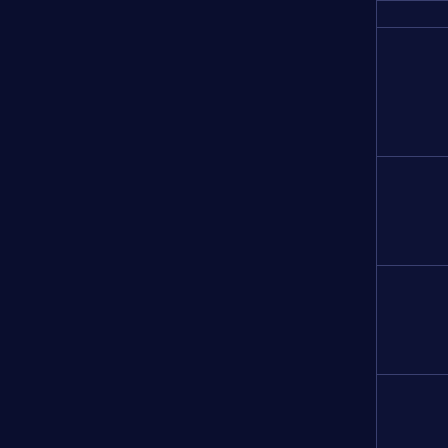| Icon | Name | Value | Properties |
| --- | --- | --- | --- |
|  | Amateur Explorer Boots | 255
(405) | Acid Protection Other V, Impenetrability V, Arcane Enlightenment Other V |
|  | Ancient Armored Long Boots (100+) | 440
(665) | Skin of the Fiazhat, Land of the Aegis |
|  | Ancient Armored Long Boots (70+) | 360
(565) | Skin of the Fiazhat, Infernal Lance Aegis |
|  | Ancient Armored Long Boots (40+) | 260
(???) | Skin of the Fiazhat, Lesser Lance of the Aegis |
|  |  |  | Skin of the Fiazhat... |